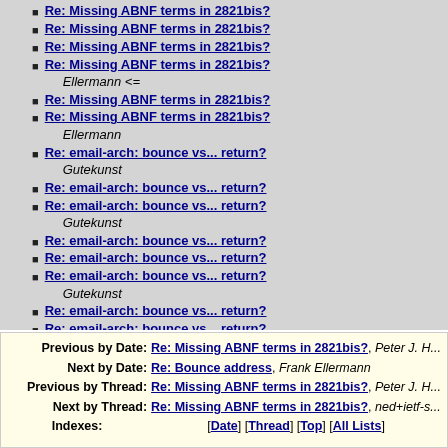Re: Missing ABNF terms in 2821bis?
Re: Missing ABNF terms in 2821bis?
Re: Missing ABNF terms in 2821bis?
Re: Missing ABNF terms in 2821bis? Ellermann <=
Re: Missing ABNF terms in 2821bis?
Re: Missing ABNF terms in 2821bis? Ellermann
Re: email-arch: bounce vs... return? Gutekunst
Re: email-arch: bounce vs... return?
Re: email-arch: bounce vs... return? Gutekunst
Re: email-arch: bounce vs... return?
Re: email-arch: bounce vs... return?
Re: email-arch: bounce vs... return? Gutekunst
Re: email-arch: bounce vs... return?
Re: email-arch: bounce vs... return?
| Label | Link | Author |
| --- | --- | --- |
| Previous by Date: | Re: Missing ABNF terms in 2821bis? | Peter J. H... |
| Next by Date: | Re: Bounce address | Frank Ellermann |
| Previous by Thread: | Re: Missing ABNF terms in 2821bis? | Peter J. H... |
| Next by Thread: | Re: Missing ABNF terms in 2821bis? | ned+ietf-s... |
| Indexes: | [Date] [Thread] [Top] [All Lists] |  |